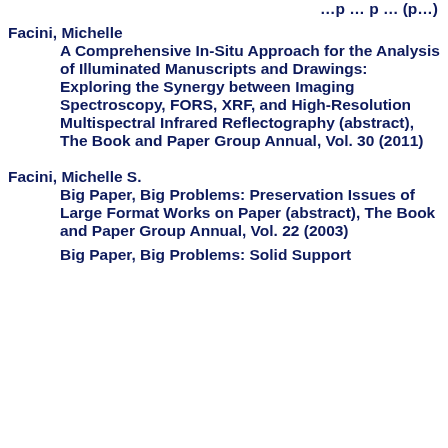(partial top line cut off)
Facini, Michelle
    A Comprehensive In-Situ Approach for the Analysis of Illuminated Manuscripts and Drawings: Exploring the Synergy between Imaging Spectroscopy, FORS, XRF, and High-Resolution Multispectral Infrared Reflectography (abstract), The Book and Paper Group Annual, Vol. 30 (2011)
Facini, Michelle S.
    Big Paper, Big Problems: Preservation Issues of Large Format Works on Paper (abstract), The Book and Paper Group Annual, Vol. 22 (2003)
    Big Paper, Big Problems: Solid Support